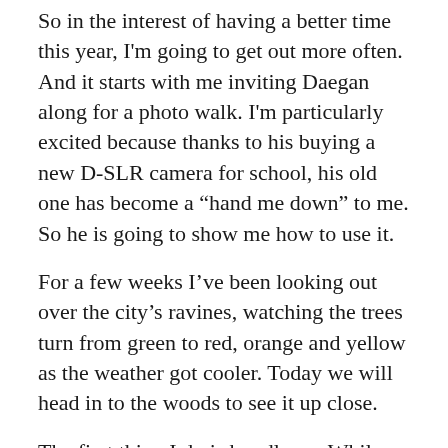So in the interest of having a better time this year, I'm going to get out more often. And it starts with me inviting Daegan along for a photo walk. I'm particularly excited because thanks to his buying a new D-SLR camera for school, his old one has become a “hand me down” to me. So he is going to show me how to use it.
For a few weeks I’ve been looking out over the city’s ravines, watching the trees turn from green to red, orange and yellow as the weather got cooler. Today we will head in to the woods to see it up close.
The first thing I do is bundle up. While it’s not too cold yet – 3-4 degrees C, I still wear a sweatshirt under my coat and even have a hat on. The cold is my number one complaint about the winter. The best way to avoid being upset is to dress warmly.